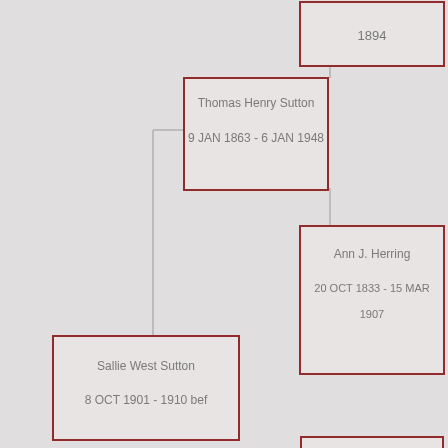[Figure (organizational-chart): Genealogy/family tree chart showing ancestors of Sallie West Sutton. Boxes for: unnamed ancestor (1894), Thomas Henry Sutton (9 JAN 1863 - 6 JAN 1948), Ann J. Herring (20 OCT 1833 - 15 MAR 1907), Sallie West Sutton (8 OCT 1901 - 1910 bef), unknown (?), Mary Sue Moody (Blizzard by birth) (21 JUN 1887 - 3 OCT 1942), and a partial box at bottom right.]